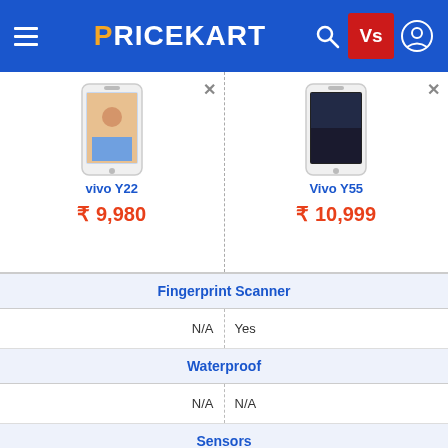PRICEKART
| vivo Y22 | Vivo Y55 |
| --- | --- |
| ₹9,980 | ₹10,999 |
| Fingerprint Scanner | Fingerprint Scanner |
| N/A | Yes |
| Waterproof | Waterproof |
| N/A | N/A |
| Sensors | Sensors |
| Accelerometer proximity compass | Proximity Sensor Accelerometer Ambient Light |
| Other | Other |
| MP4/H.264 player , MP3/WAV/FLAC/eAAC+ player , Photo editor , Document viewer | N/A |